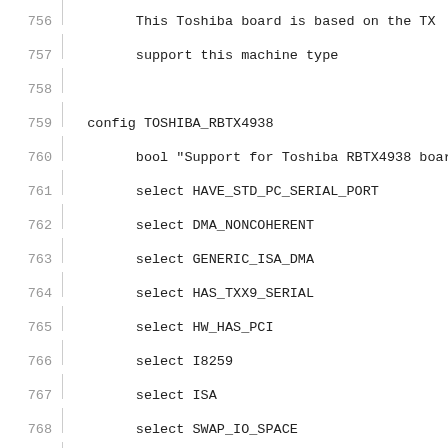756   This Toshiba board is based on the TX
757   support this machine type
758
759 config TOSHIBA_RBTX4938
760   bool "Support for Toshiba RBTX4938 boar
761   select HAVE_STD_PC_SERIAL_PORT
762   select DMA_NONCOHERENT
763   select GENERIC_ISA_DMA
764   select HAS_TXX9_SERIAL
765   select HW_HAS_PCI
766   select I8259
767   select ISA
768   select SWAP_IO_SPACE
769   select SYS_HAS_CPU_TX49XX
770   select SYS_SUPPORTS_32BIT_KERNEL
771   select SYS_SUPPORTS_LITTLE_ENDIAN
772   select SYS_SUPPORTS_BIG_ENDIAN
773   select TOSHIBA_BOARDS
774   help
775     This Toshiba board is based on the TX
776     support this machine type
777